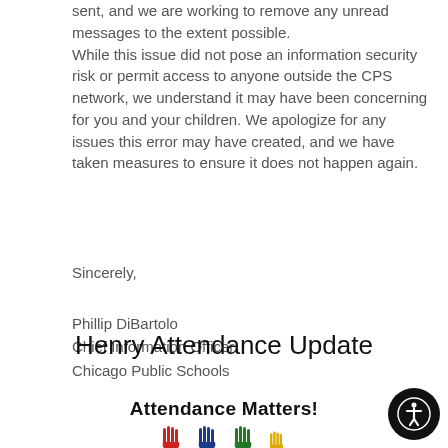sent, and we are working to remove any unread messages to the extent possible.
While this issue did not pose an information security risk or permit access to anyone outside the CPS network, we understand it may have been concerning for you and your children. We apologize for any issues this error may have created, and we have taken measures to ensure it does not happen again.
Sincerely,
Phillip DiBartolo
Chief Information Officer
Chicago Public Schools
Henry Attendance Update
[Figure (logo): Attendance Matters! logo with colorful handprint icons below the text]